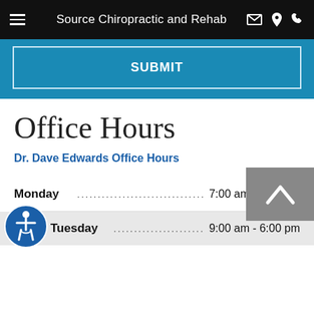Source Chiropractic and Rehab
SUBMIT
Office Hours
Dr. Dave Edwards Office Hours
Monday  ............................................  7:00 am - 6:00 pm
Tuesday  ............................................  9:00 am - 6:00 pm